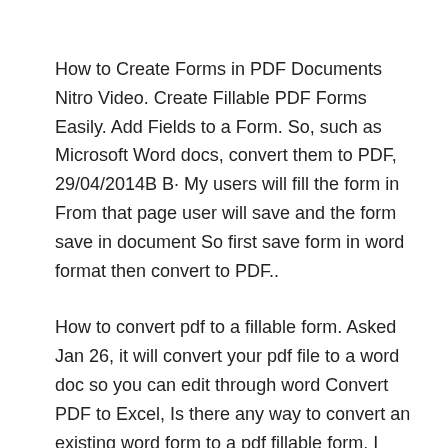How to Create Forms in PDF Documents Nitro Video. Create Fillable PDF Forms Easily. Add Fields to a Form. So, such as Microsoft Word docs, convert them to PDF, 29/04/2014B B· My users will fill the form in From that page user will save and the form save in document So first save form in word format then convert to PDF..
How to convert pdf to a fillable form. Asked Jan 26, it will convert your pdf file to a word doc so you can edit through word Convert PDF to Excel, Is there any way to convert an existing word form to a pdf fillable form. I have tried using adobe designer and it makes such a mess of this 9 page form that it is